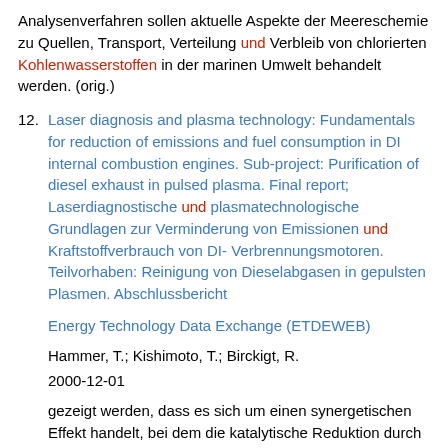Analysenverfahren sollen aktuelle Aspekte der Meereschemie zu Quellen, Transport, Verteilung und Verbleib von chlorierten Kohlenwasserstoffen in der marinen Umwelt behandelt werden. (orig.)
12. Laser diagnosis and plasma technology: Fundamentals for reduction of emissions and fuel consumption in DI internal combustion engines. Sub-project: Purification of diesel exhaust in pulsed plasma. Final report; Laserdiagnostische und plasmatechnologische Grundlagen zur Verminderung von Emissionen und Kraftstoffverbrauch von DI-Verbrennungsmotoren. Teilvorhaben: Reinigung von Dieselabgasen in gepulsten Plasmen. Abschlussbericht
Energy Technology Data Exchange (ETDEWEB)
Hammer, T.; Kishimoto, T.; Birckigt, R.
2000-12-01
gezeigt werden, dass es sich um einen synergetischen Effekt handelt, bei dem die katalytische Reduktion durch plasmainduzierte Oxidation eines Teils des NO's ausgeloest wird. Basierend auf dieser Kenntnis des...